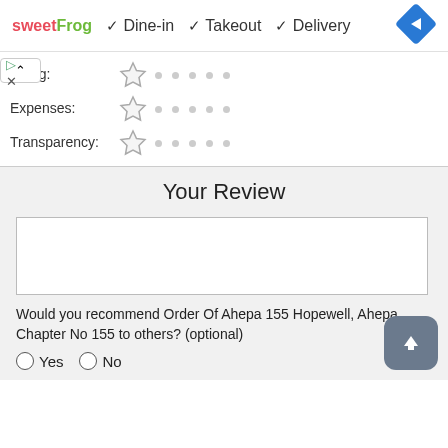[Figure (logo): sweetFrog logo with colorful text]
✓ Dine-in  ✓ Takeout  ✓ Delivery
[Figure (other): Blue diamond navigation icon with right arrow]
Fundraising: (star rating row with dots)
Expenses: (star rating row with dots)
Transparency: (star rating row with dots)
Your Review
Would you recommend Order Of Ahepa 155 Hopewell, Ahepa Chapter No 155 to others? (optional)
○ Yes   ○ No